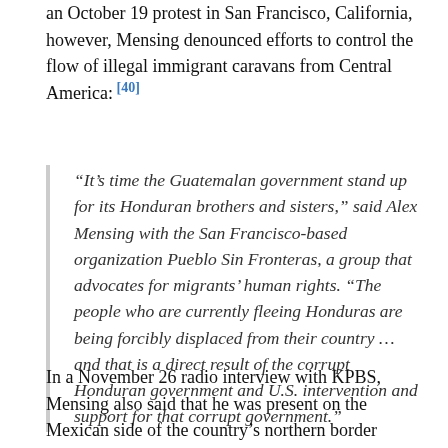an October 19 protest in San Francisco, California, however, Mensing denounced efforts to control the flow of illegal immigrant caravans from Central America: [40]
“It’s time the Guatemalan government stand up for its Honduran brothers and sisters,” said Alex Mensing with the San Francisco-based organization Pueblo Sin Fronteras, a group that advocates for migrants’ human rights. “The people who are currently fleeing Honduras are being forcibly displaced from their country … and that is a direct result of the corrupt Honduran government and U.S. intervention and support for that corrupt government.”
In a November 26 radio interview with KPBS, Mensing also said that he was present on the Mexican side of the country’s northern border when caravan members attempted to forcibly cross into the United States. [41] On October 18, Pueblo Sin